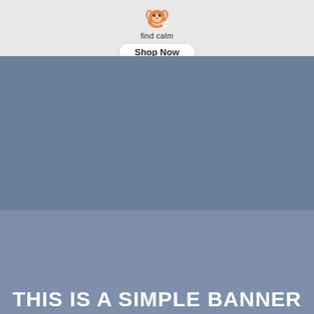[Figure (logo): Cartoon fox/hamster logo with text 'find calm' and a 'Shop Now' button below]
[Figure (illustration): Dark steel-blue banner background, upper darker section and lower slightly lighter blue section]
THIS IS A SIMPLE BANNER